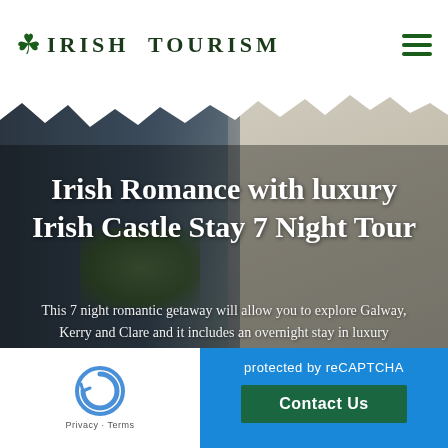IRISH TOURISM
[Figure (photo): Background photo of a man in blue shirt near a white stone wall, with green plants, serving as hero image for Irish Tourism tour page]
Irish Romance with luxury Irish Castle Stay 7 Night Tour
This 7 night romantic getaway will allow you to explore Galway, Kerry and Clare and it includes an overnight stay in luxury Dromoland Castle.
protected by reCAPTCHA
Privacy · Terms
Contact Us